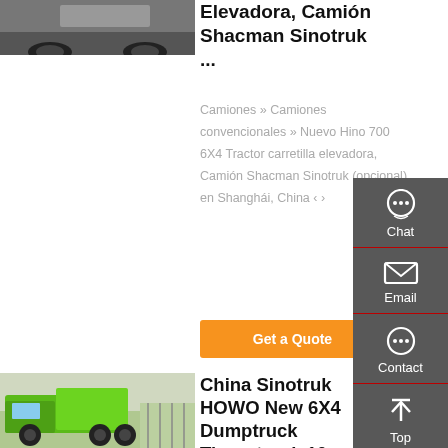[Figure (photo): Partial view of a truck/tractor cab, dark tones, showing front and wheel area]
Elevadora, Camión Shacman Sinotruk ...
Camiones » Camiones convencionales » Nuevo Hino 700 6X4 Tractor carretilla elevadora, Camión Shacman Sinotruk (opcional). en Shanghái, China ‹ ›
Get a Quote
[Figure (photo): Green Sinotruk HOWO dump truck / tipper truck parked outdoors]
China Sinotruk HOWO New 6X4 Dumptruck Tippertruck 10
[Figure (infographic): Sidebar panel with Chat, Email, Contact, and Top navigation icons on dark gray background]